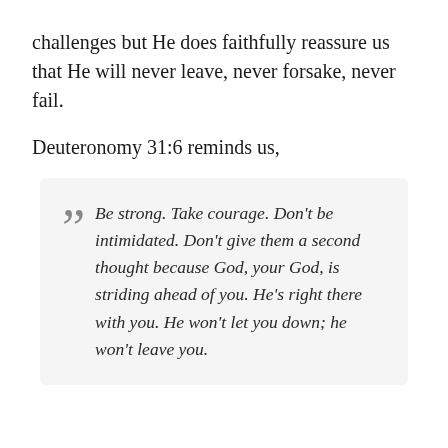challenges but He does faithfully reassure us that He will never leave, never forsake, never fail.
Deuteronomy 31:6 reminds us,
Be strong. Take courage. Don't be intimidated. Don't give them a second thought because God, your God, is striding ahead of you. He's right there with you. He won't let you down; he won't leave you.